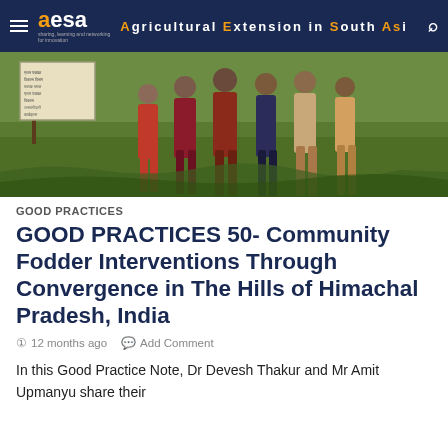aesa – Agricultural Extension in South Asia
[Figure (photo): Group of children and adults standing in a grassy field next to a sign board with Hindi text]
GOOD PRACTICES
GOOD PRACTICES 50- Community Fodder Interventions Through Convergence in The Hills of Himachal Pradesh, India
12 months ago   Add Comment
In this Good Practice Note, Dr Devesh Thakur and Mr Amit Upmanyu share their